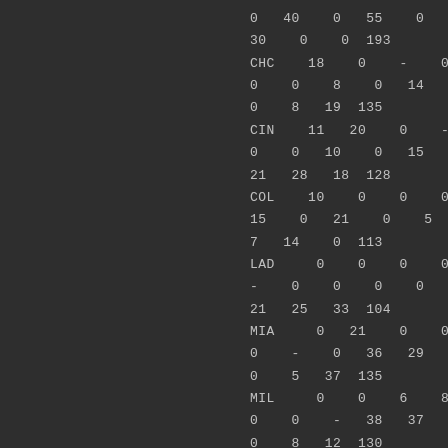0   40    0   55    0    0   29
30    0    0  193
CHC    18    0    -    0    0
0    0    8    0   14   47   21
0    8   19  135
CIN    11   20    0    -    0
0    0   10    0   15    5    0
21   28   18  128
COL    10    0    0    0    -
15    0   21    0    5    0   41
7   14    0  113
LAD     0    0    0    0    3
-    0    0    0    0   11   11
21   25   33  104
MIA     0   21    0    0    0
0    -    0   36   29    7    0
0    5   37  135
MIL     0    0    6    8   12
0    0    -   38   37    9    0
0    8   12  130